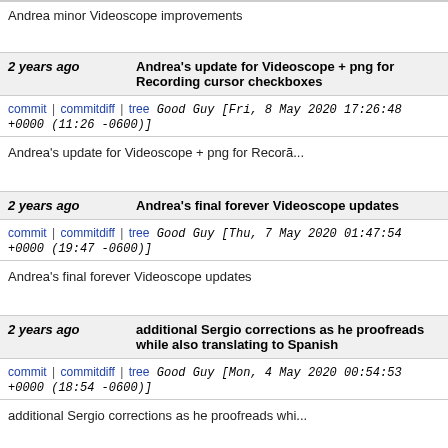Andrea minor Videoscope improvements
2 years ago   Andrea's update for Videoscope + png for Recording cursor checkboxes
commit | commitdiff | tree   Good Guy [Fri, 8 May 2020 17:26:48 +0000 (11:26 -0600)]
Andrea's update for Videoscope + png for Recorã...
2 years ago   Andrea's final forever Videoscope updates
commit | commitdiff | tree   Good Guy [Thu, 7 May 2020 01:47:54 +0000 (19:47 -0600)]
Andrea's final forever Videoscope updates
2 years ago   additional Sergio corrections as he proofreads while also translating to Spanish
commit | commitdiff | tree   Good Guy [Mon, 4 May 2020 00:54:53 +0000 (18:54 -0600)]
additional Sergio corrections as he proofreads whi...
2 years ago   Sergio corrections
commit | commitdiff | tree   Good Guy [Sun, 3 May 2020 22:24:33